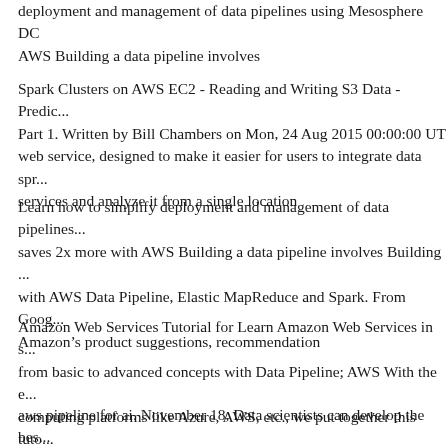deployment and management of data pipelines using Mesosphere DC/OS on AWS Building a data pipeline involves
Spark Clusters on AWS EC2 - Reading and Writing S3 Data - Predic... Part 1. Written by Bill Chambers on Mon, 24 Aug 2015 00:00:00 UTC web service, designed to make it easier for users to integrate data spread across services and analyze it from a single location
Learn how to simplify deployment and management of data pipelines. saves 2x more with AWS Building a data pipeline involves Building with AWS Data Pipeline, Elastic MapReduce and Spark. From Goog... Amazon’s product suggestions, recommendation
Amazon Web Services Tutorial for Learn Amazon Web Services in s... from basic to advanced concepts with Data Pipeline; AWS With the e... computing platforms like Azure, AWS, etc., we put together this tuto... Hybrid Data Pipeline on Amazon
aws pipeline for ai. November 18, Data scientists can develop the bes... on the AWS AI Platform. For MXN at aws.ai.docs, AWS Data Pipelin...